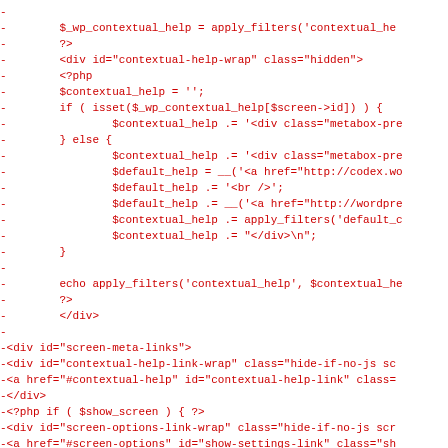[Figure (screenshot): A code diff showing removed lines (prefixed with '-') in red monospace font. The code is PHP/HTML related to WordPress contextual help and screen meta links functionality.]